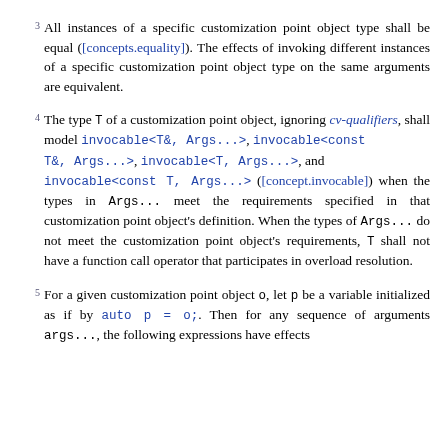3  All instances of a specific customization point object type shall be equal ([concepts.equality]). The effects of invoking different instances of a specific customization point object type on the same arguments are equivalent.
4  The type T of a customization point object, ignoring cv-qualifiers, shall model invocable<T&, Args...>, invocable<const T&, Args...>, invocable<T, Args...>, and invocable<const T, Args...> ([concept.invocable]) when the types in Args... meet the requirements specified in that customization point object's definition. When the types of Args... do not meet the customization point object's requirements, T shall not have a function call operator that participates in overload resolution.
5  For a given customization point object o, let p be a variable initialized as if by auto p = o;. Then for any sequence of arguments args..., the following expressions have effects